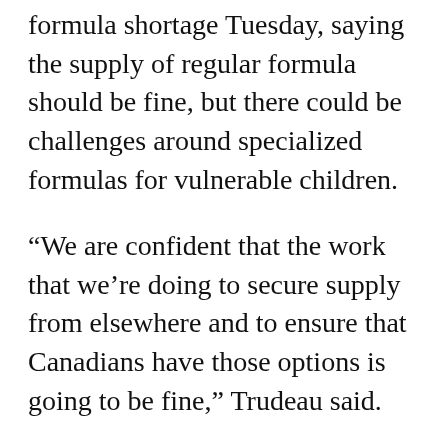formula shortage Tuesday, saying the supply of regular formula should be fine, but there could be challenges around specialized formulas for vulnerable children.
“We are confident that the work that we’re doing to secure supply from elsewhere and to ensure that Canadians have those options is going to be fine,” Trudeau said.
In February, food safety issues forced the closure of the Michigan plant that supplies much of the special formula, which has caused a ripple effect across the board.
According to industry experts, there is a baby formula manufacturing plant in Kingston, Ont., but it’s foreign-owned and all of what it